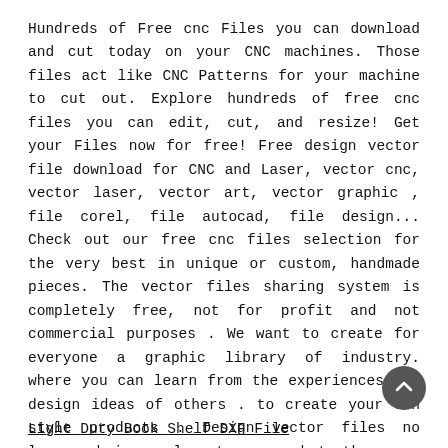Hundreds of Free cnc Files you can download and cut today on your CNC machines. Those files act like CNC Patterns for your machine to cut out. Explore hundreds of free cnc files you can edit, cut, and resize! Get your Files now for free! Free design vector file download for CNC and Laser, vector cnc, vector laser, vector art, vector graphic , file corel, file autocad, file design... Check out our free cnc files selection for the very best in unique or custom, handmade pieces. The vector files sharing system is completely free, not for profit and not commercial purposes . We want to create for everyone a graphic library of industry. where you can learn from the experiences and design ideas of others . to create your own style products . Design vector files no longer bring value to you, but they are useful for many others . instead of deleting vector files please send files to us . We will share them on the Thehireshopmarmenor.com website so more people have the opportunity to learn more about your design style.
Light Duty Book Shelf DXF File